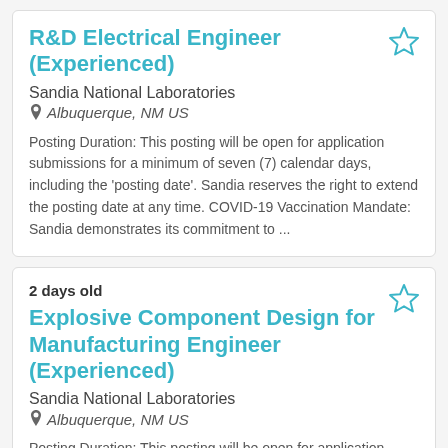R&D Electrical Engineer (Experienced)
Sandia National Laboratories
Albuquerque, NM US
Posting Duration: This posting will be open for application submissions for a minimum of seven (7) calendar days, including the 'posting date'. Sandia reserves the right to extend the posting date at any time. COVID-19 Vaccination Mandate: Sandia demonstrates its commitment to ...
2 days old
Explosive Component Design for Manufacturing Engineer (Experienced)
Sandia National Laboratories
Albuquerque, NM US
Posting Duration: This posting will be open for application submissions for a minimum of seven (7)